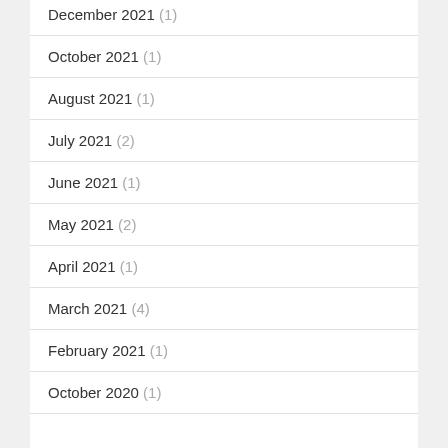December 2021 (1)
October 2021 (1)
August 2021 (1)
July 2021 (2)
June 2021 (1)
May 2021 (2)
April 2021 (1)
March 2021 (4)
February 2021 (1)
October 2020 (1)